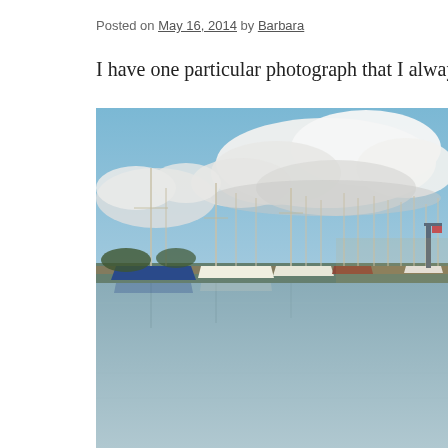Posted on May 16, 2014 by Barbara
I have one particular photograph that I always think reminds me
[Figure (photo): A marina with numerous sailboats moored at docks, reflected in calm water. Large cumulus clouds fill a blue sky above. The scene is photographed in warm evening light.]